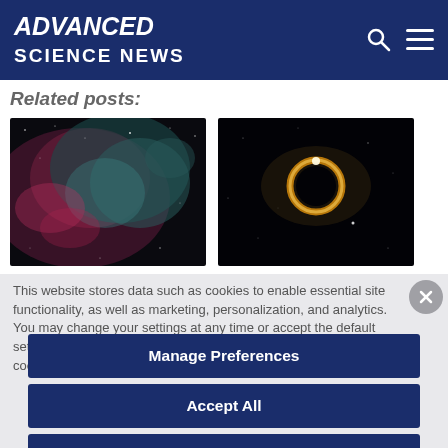ADVANCED SCIENCE NEWS
Related posts:
[Figure (photo): Nebula / space image with pink and teal gas clouds on dark background]
[Figure (photo): Dark space image with bright ring/circle light source and small white dot]
This website stores data such as cookies to enable essential site functionality, as well as marketing, personalization, and analytics. You may change your settings at any time or accept the default settings. You may close this banner to continue with only essential cookies. Privacy Policy
Manage Preferences
Accept All
Reject All